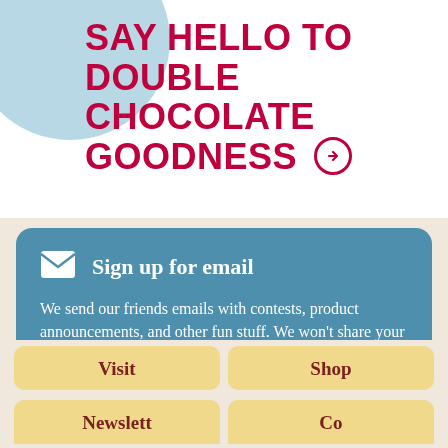SAY HELLO TO DOUBLE CHOCOLATE GOODNESS →
Sign up for email
We send our friends emails with contests, product announcements, and other fun stuff. We won't share your email address with anyone else. Promise.
sign up now
Visit
Shop
Newsletter
Contact